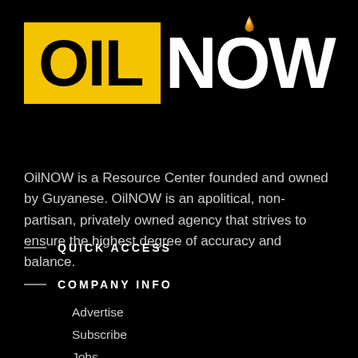[Figure (logo): OilNOW logo: yellow box with 'OIL' in black bold text, followed by 'NOW' in white bold text with an orange oil drop above the O]
OilNOW is a Resource Center founded and owned by Guyanese. OilNOW is an apolitical, non-partisan, privately owned agency that strives to ensure the highest degree of accuracy and balance.
QUICK ACCESS
COMPANY INFO
Advertise
Subscribe
Jobs
Contact